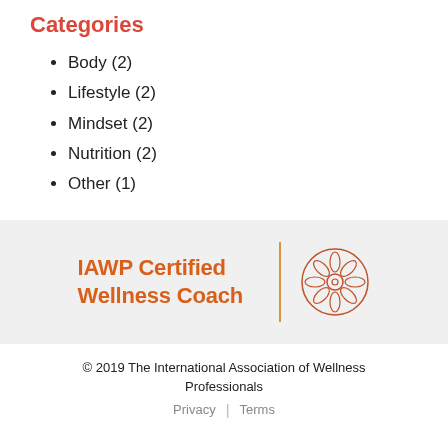Categories
Body (2)
Lifestyle (2)
Mindset (2)
Nutrition (2)
Other (1)
[Figure (logo): IAWP Certified Wellness Coach logo with orange text and a circular mandala/flower emblem separated by a vertical orange line]
© 2019 The International Association of Wellness Professionals
Privacy | Terms